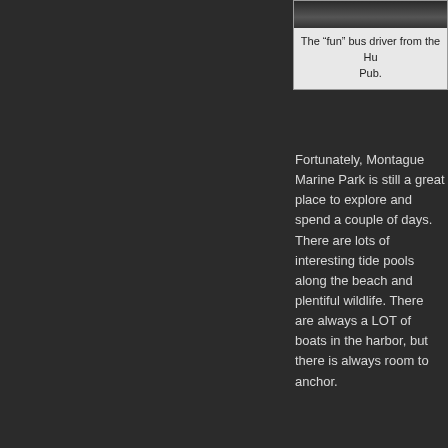[Figure (photo): Partial photo of a person, likely a bus driver, cropped at top]
The “fun” bus driver from the Hu Pub.
Fortunately, Montague Marine Park is still a great place to explore and spend a couple of days. There are lots of interesting tide pools along the beach and plentiful wildlife. There are always a LOT of boats in the harbor, but there is always room to anchor.
My favorite critter for this trip was the driftwood deer we found hiding along the loop trail. Very clever!
[Figure (photo): Partial photo showing trees and a provincial park sign, cropped at bottom of page]